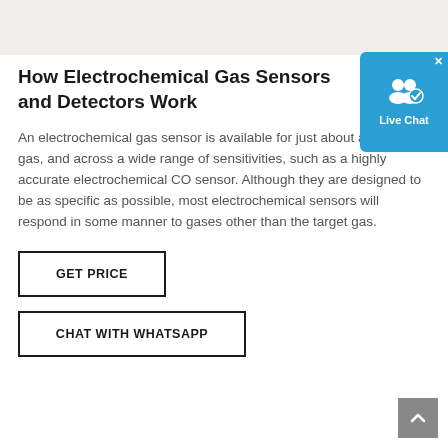[Figure (screenshot): Gray top banner area of a webpage]
[Figure (other): Live Chat widget button with user icons and blue background]
How Electrochemical Gas Sensors and Detectors Work
An electrochemical gas sensor is available for just about any target gas, and across a wide range of sensitivities, such as a highly accurate electrochemical CO sensor. Although they are designed to be as specific as possible, most electrochemical sensors will respond in some manner to gases other than the target gas.
GET PRICE
CHAT WITH WHATSAPP